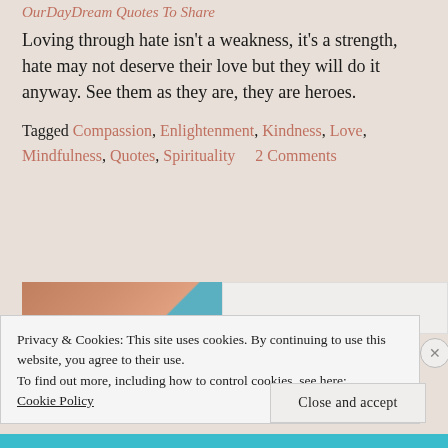OurDayDream Quotes To Share
Loving through hate isn't a weakness, it's a strength, hate may not deserve their love but they will do it anyway. See them as they are, they are heroes.
Tagged Compassion, Enlightenment, Kindness, Love, Mindfulness, Quotes, Spirituality     2 Comments
[Figure (photo): Partial image of a person's face/head with orange-brown tones, partially obscured]
Privacy & Cookies: This site uses cookies. By continuing to use this website, you agree to their use.
To find out more, including how to control cookies, see here: Cookie Policy
Close and accept